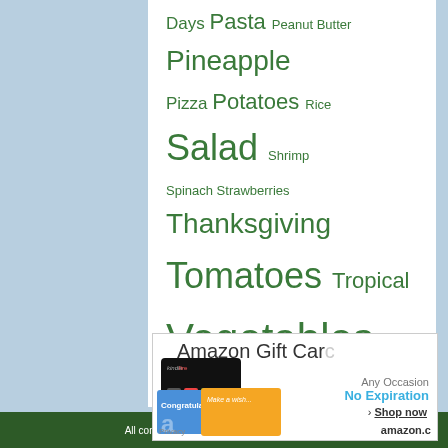Days Pasta Peanut Butter Pineapple Pizza Potatoes Rice Salad Shrimp Spinach Strawberries Thanksgiving Tomatoes Tropical Vegetables Waffles
[Figure (illustration): Amazon Gift Card advertisement showing Kindle Fire tablet card, a blue Congratulations card, and an orange Make a wish birthday card. Text reads: Amazon Gift Card, Any Occasion, No Expiration, Shop now, amazon.com, Privacy.]
All content © 2010-2011 Sylveeskitchen.com